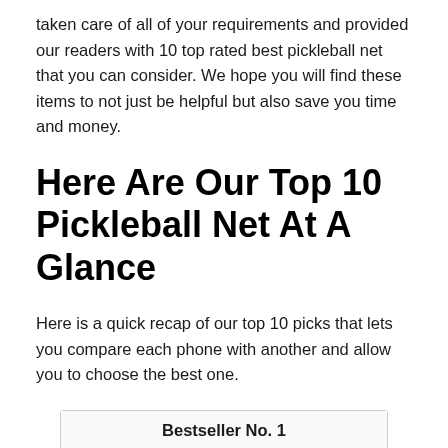taken care of all of your requirements and provided our readers with 10 top rated best pickleball net that you can consider. We hope you will find these items to not just be helpful but also save you time and money.
Here Are Our Top 10 Pickleball Net At A Glance
Here is a quick recap of our top 10 picks that lets you compare each phone with another and allow you to choose the best one.
| Bestseller No. 1 |
| --- |
| [pickleball net image] |